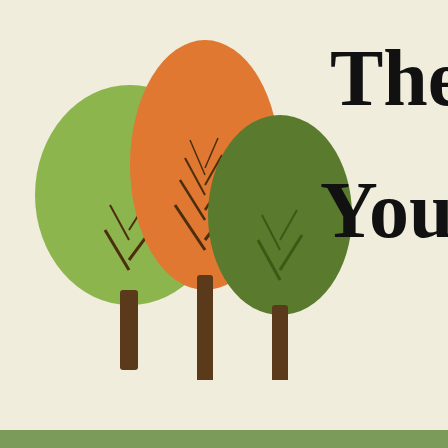[Figure (illustration): Website header with illustrated trees (green, orange, dark green) on a cream/beige background and partial site title text 'The O... Your Ho...']
Home   Living Frugally   v How To / DIY   v Gardening   v
« How To Grow Tomatoes And Potatoes On One Plant
Is Your Cookware Toxic?
Health, Healthy